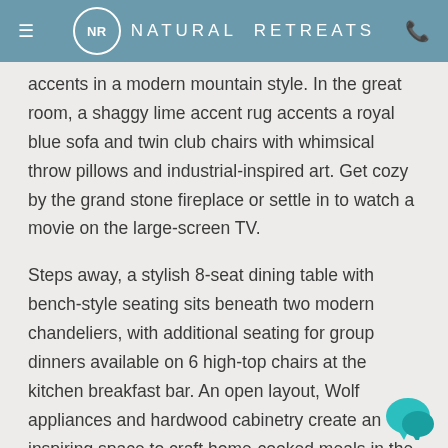NR NATURAL RETREATS
accents in a modern mountain style. In the great room, a shaggy lime accent rug accents a royal blue sofa and twin club chairs with whimsical throw pillows and industrial-inspired art. Get cozy by the grand stone fireplace or settle in to watch a movie on the large-screen TV.
Steps away, a stylish 8-seat dining table with bench-style seating sits beneath two modern chandeliers, with additional seating for group dinners available on 6 high-top chairs at the kitchen breakfast bar. An open layout, Wolf appliances and hardwood cabinetry create an inspiring space to craft home-cooked meals in the gourmet kitchen